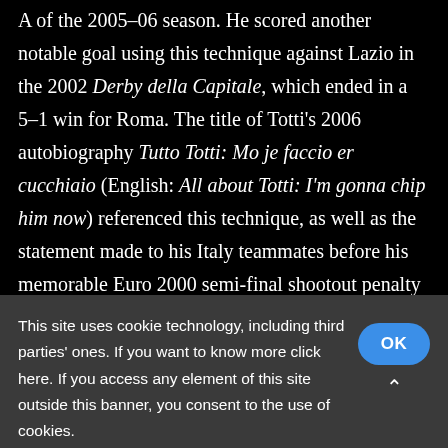A of the 2005-06 season. He scored another notable goal using this technique against Lazio in the 2002 Derby della Capitale, which ended in a 5-1 win for Roma. The title of Totti's 2006 autobiography Tutto Totti: Mo je faccio er cucchiaio (English: All about Totti: I'm gonna chip him now) referenced this technique, as well as the statement made to his Italy teammates before his memorable Euro 2000 semi-final shootout penalty against the Netherlands. Having served as Roma's captain for several years, Totti was praised for his leadership. Despite his talent and ability, however, Totti drew criticism at times for his character and lack of discipline on
This site uses cookie technology, including third parties' ones. If you want to know more click here. If you access any element of this site outside this banner, you consent to the use of cookies.